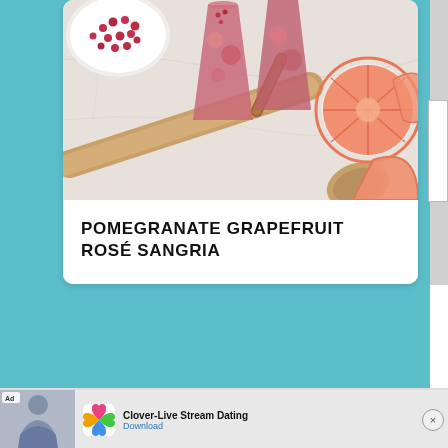[Figure (photo): Food photography showing pomegranate seeds in a bowl, sangria drinks in glasses with grapefruit slices, a wooden spoon, cinnamon stick, and marble cutting board background]
POMEGRANATE GRAPEFRUIT ROSÉ SANGRIA
[Figure (screenshot): Advertisement banner for Clover-Live Stream Dating app with a woman photo, Clover logo, text 'Clover-Live Stream Dating', 'Download' button, and close X button]